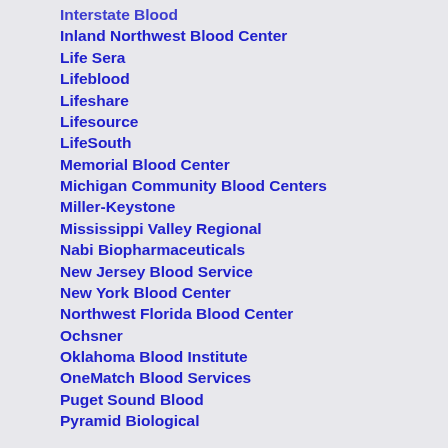Interstate Blood
Inland Northwest Blood Center
Life Sera
Lifeblood
Lifeshare
Lifesource
LifeSouth
Memorial Blood Center
Michigan Community Blood Centers
Miller-Keystone
Mississippi Valley Regional
Nabi Biopharmaceuticals
New Jersey Blood Service
New York Blood Center
Northwest Florida Blood Center
Ochsner
Oklahoma Blood Institute
OneMatch Blood Services
Puget Sound Blood
Pyramid Biological